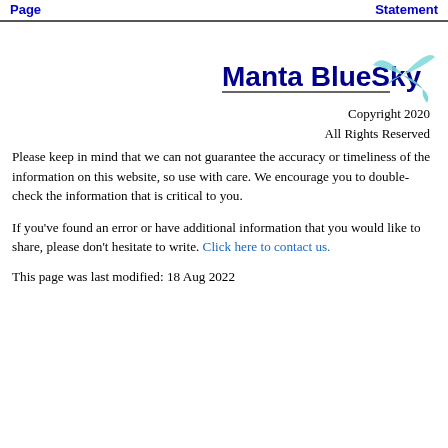Page | Statement
[Figure (logo): Manta BlueSky logo with a manta ray / kite bird icon in teal and light blue, text 'Manta BlueSky' in dark blue bold]
Copyright 2020
All Rights Reserved
Please keep in mind that we can not guarantee the accuracy or timeliness of the information on this website, so use with care. We encourage you to double-check the information that is critical to you.
If you've found an error or have additional information that you would like to share, please don't hesitate to write. Click here to contact us.
This page was last modified: 18 Aug 2022